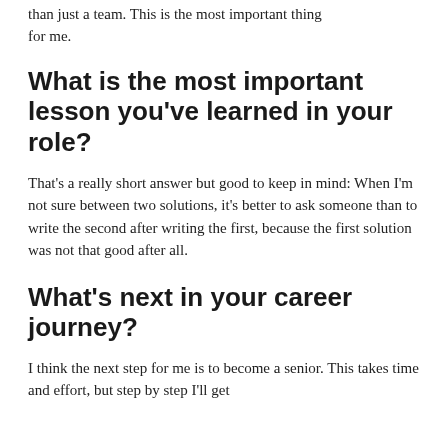than just a team. This is the most important thing for me.
What is the most important lesson you’ve learned in your role?
That’s a really short answer but good to keep in mind: When I’m not sure between two solutions, it’s better to ask someone than to write the second after writing the first, because the first solution was not that good after all.
What’s next in your career journey?
I think the next step for me is to become a senior. This takes time and effort, but step by step I’ll get